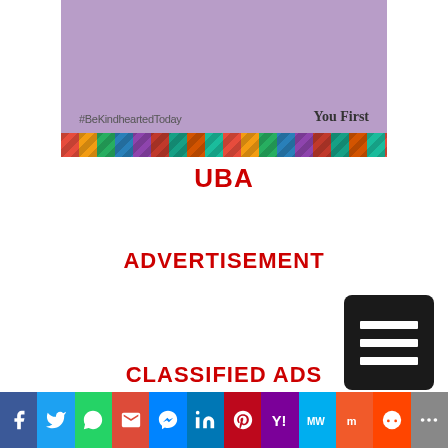[Figure (illustration): UBA bank advertisement banner with purple background, #BeKindheartedToday hashtag, 'You First' text, and colorful African-pattern stripe at bottom]
UBA
ADVERTISEMENT
[Figure (other): Hamburger menu icon - black rounded rectangle with three white horizontal lines]
CLASSIFIED ADS
[Figure (other): Social media sharing bar with buttons for Facebook, Twitter, WhatsApp, Gmail, Messenger, LinkedIn, Pinterest, Yahoo, MeWe, Mix, Reddit, and More]